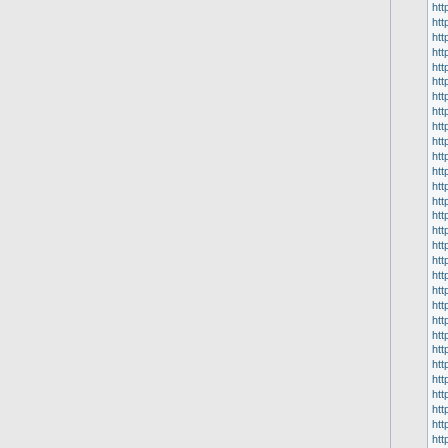http://www.louis-vuitton-handba...
http://www.coachfactory.biz
http://www.cheapmichaelkorso...
http://www.true--religion.us
http://www.vuitton-louis.cc
http://www.louis-vuitton-handba...
http://www.michael-korshandba...
http://www.red-bottom-shoes.us...
http://www.michaelkors-handba...
http://www.michael-korsoutlet-h...
http://www.louis-vuitton-handba...
http://www.michaelkorsoutlet.co...
http://www.michaelkors-outlet.e...
http://www.coachhandbags.cc
http://www.michaelkorsbagsout...
http://www.vuittonlouis.name
http://www.coach-outlet.co
http://www.coach-factory-outlet...
http://www.coachfactory-outlet....
http://www.vuittonlouis.net
http://www.coach-factory-outlet...
http://www.michael-korshandba...
http://www.mont-blancpens.org
http://www.louis-vuitton-outlet.b...
http://www.michael-korshandba...
http://www.coachfactory-outlet....
http://www.michael-korshandba...
http://www.louis-vuittonoutlet.bi...
http://www.michael-korshandba...
http://www.michaelkorsoutleton...
http://www.coach-factory.cc
http://www.louisvuitton-handbag...
http://www.red-bottom-shoes.na...
http://www.louis-vuitton-outlet.u...
http://www.christianlouboutin-o...
http://www.coach-outlet.eu
http://www.coachsfactoryoutlet...